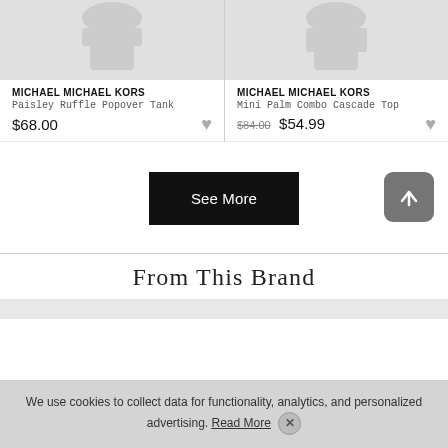[Figure (illustration): Two clothing items on gray placeholder background - left card showing a tank top illustration, right card showing a top illustration]
MICHAEL MICHAEL KORS
Paisley Ruffle Popover Tank
$68.00
MICHAEL MICHAEL KORS
Mini Palm Combo Cascade Top
$84.00 $54.99
See More
From This Brand
We use cookies to collect data for functionality, analytics, and personalized advertising. Read More ×